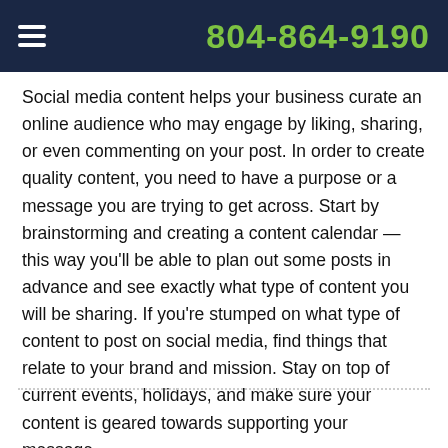804-864-9190
Social media content helps your business curate an online audience who may engage by liking, sharing, or even commenting on your post. In order to create quality content, you need to have a purpose or a message you are trying to get across. Start by brainstorming and creating a content calendar — this way you'll be able to plan out some posts in advance and see exactly what type of content you will be sharing. If you're stumped on what type of content to post on social media, find things that relate to your brand and mission. Stay on top of current events, holidays, and make sure your content is geared towards supporting your message.
Read more ❯